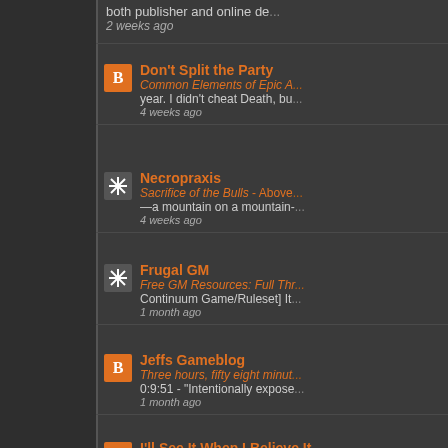both publisher and online de...
2 weeks ago
Don't Split the Party
Common Elements of Epic A...
year. I didn't cheat Death, bu...
4 weeks ago
Necropraxis
Sacrifice of the Bulls - Above...
—a mountain on a mountain-...
4 weeks ago
Frugal GM
Free GM Resources: Full Thr...
Continuum Game/Ruleset] It...
1 month ago
Jeffs Gameblog
Three hours, fifty eight minut...
0:9:51 - "Intentionally expose...
1 month ago
I'll See It When I Believe It
At the Hour of Death - *The lo...
suspected. But be warned, w...
1 month ago
Crawling for Coppers
Helvéczia: Journal de Campa...
those that remain of the sev...